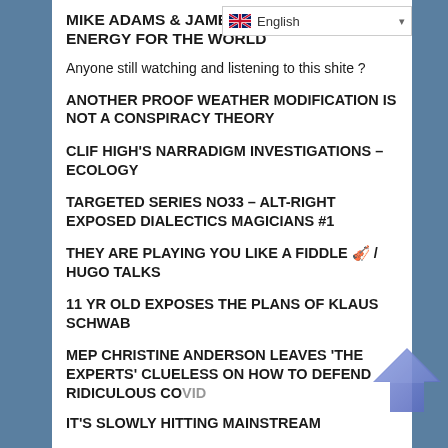MIKE ADAMS & JAMES MARTIN ENERGY FOR THE WORLD
Anyone still watching and listening to this shite ?
ANOTHER PROOF WEATHER MODIFICATION IS NOT A CONSPIRACY THEORY
CLIF HIGH'S NARRADIGM INVESTIGATIONS – ECOLOGY
TARGETED SERIES NO33 – ALT-RIGHT EXPOSED DIALECTICS MAGICIANS #1
THEY ARE PLAYING YOU LIKE A FIDDLE 🎻 / HUGO TALKS
11 YR OLD EXPOSES THE PLANS OF KLAUS SCHWAB
MEP CHRISTINE ANDERSON LEAVES 'THE EXPERTS' CLUELESS ON HOW TO DEFEND RIDICULOUS COVID
IT'S SLOWLY HITTING MAINSTREAM